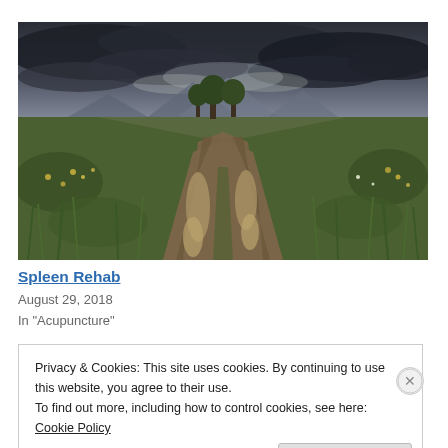[Figure (photo): A muddy dirt road or track with puddles of water, flanked by lush green grass and wildflowers, with trees and mountains in the background under a dramatic stormy dark cloudy sky.]
Spleen Rehab
August 29, 2018
In "Acupuncture"
Privacy & Cookies: This site uses cookies. By continuing to use this website, you agree to their use.
To find out more, including how to control cookies, see here: Cookie Policy
Close and accept